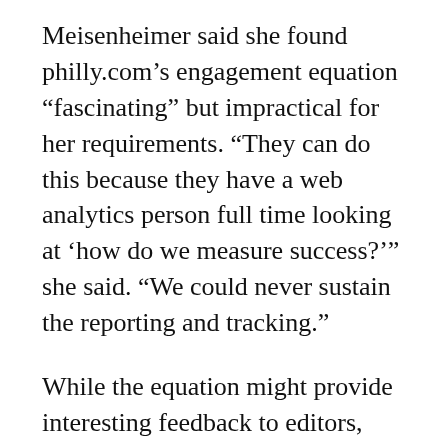Meisenheimer said she found philly.com’s engagement equation “fascinating” but impractical for her requirements. “They can do this because they have a web analytics person full time looking at ‘how do we measure success?’” she said. “We could never sustain the reporting and tracking.”
While the equation might provide interesting feedback to editors, Meisenheimer said she thought the results it produced were too complicated. In a competitive market, businesses want to compare different web outlets on apples-to-apples factors like total audience and local audiences. She said tampabay.com would measure engagement in a